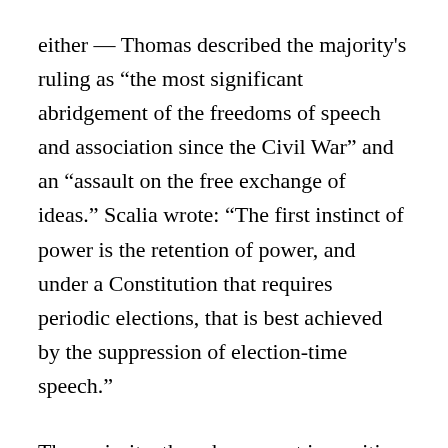either — Thomas described the majority's ruling as “the most significant abridgement of the freedoms of speech and association since the Civil War” and an “assault on the free exchange of ideas.” Scalia wrote: “The first instinct of power is the retention of power, and under a Constitution that requires periodic elections, that is best achieved by the suppression of election-time speech.”
The majority, though, was not insensitive to